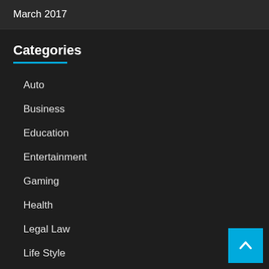March 2017
Categories
Auto
Business
Education
Entertainment
Gaming
Health
Legal Law
Life Style
Medicine
Real Estate